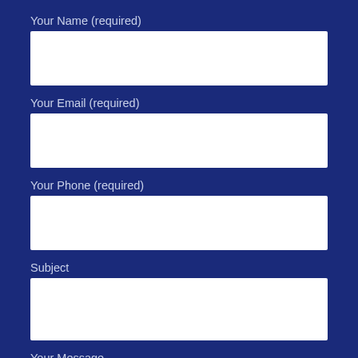Your Name (required)
[Figure (other): Empty white input field for name]
Your Email (required)
[Figure (other): Empty white input field for email]
Your Phone (required)
[Figure (other): Empty white input field for phone]
Subject
[Figure (other): Empty white input field for subject]
Your Message